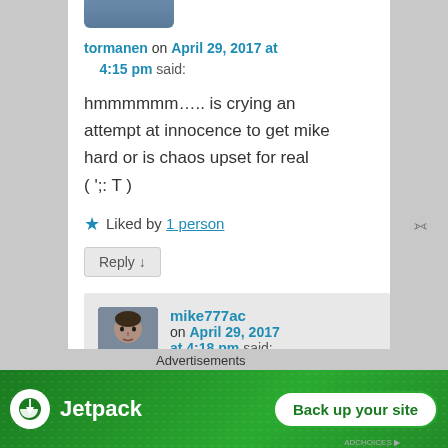[Figure (photo): Profile photo of user tormanen, partially visible at top]
tormanen on April 29, 2017 at 4:15 pm said:
hmmmmmm….. is crying an attempt at innocence to get mike hard or is chaos upset for real ( ';: T )
★ Liked by 1 person
Reply ↓
[Figure (photo): Profile photo of user mike777ac]
mike777ac on April 29, 2017 at 4:18 pm said:
Probably both lol
Advertisements
[Figure (screenshot): Jetpack advertisement banner — Back up your site]